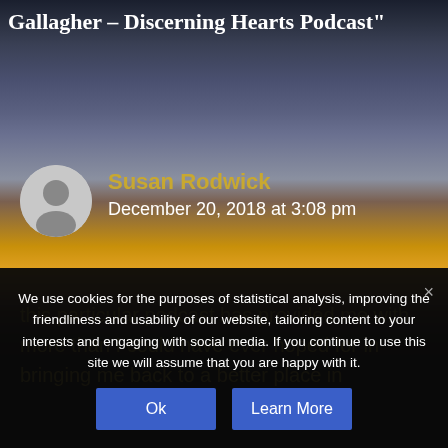Gallagher – Discerning Hearts Podcast"
Susan Rodwick
December 20, 2018 at 3:08 pm
this particular podcast has provided me with more than I could have ever hoped for in bringing me back to a better place in
We use cookies for the purposes of statistical analysis, improving the friendliness and usability of our website, tailoring content to your interests and engaging with social media. If you continue to use this site we will assume that you are happy with it.
Ok
Learn More